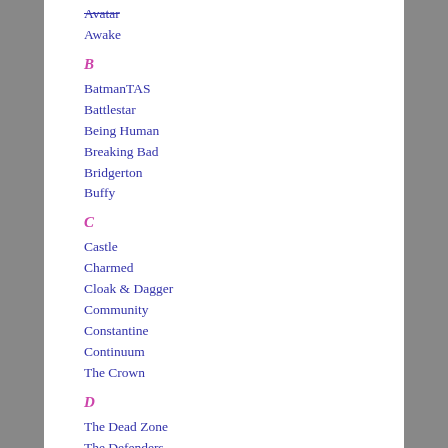Avatar
Awake
B
BatmanTAS
Battlestar
Being Human
Breaking Bad
Bridgerton
Buffy
C
Castle
Charmed
Cloak & Dagger
Community
Constantine
Continuum
The Crown
D
The Dead Zone
The Defenders
Dexter
Doctor Who (new)
Doctor Who (classic)